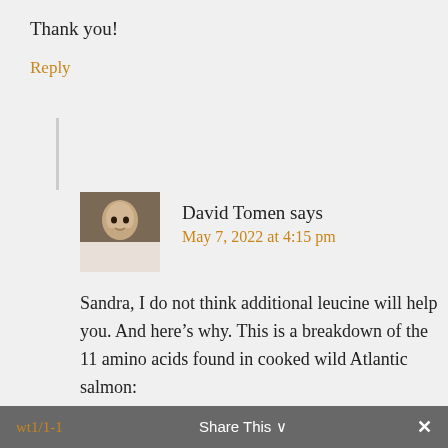Thank you!
Reply
David Tomen says
May 7, 2022 at 4:15 pm
Sandra, I do not think additional leucine will help you. And here’s why. This is a breakdown of the 11 amino acids found in cooked wild Atlantic salmon: https://tools.myfooddata.com/protein-calculator/171998-173683/wt9-wt1/1-1
Share This ∨  ×